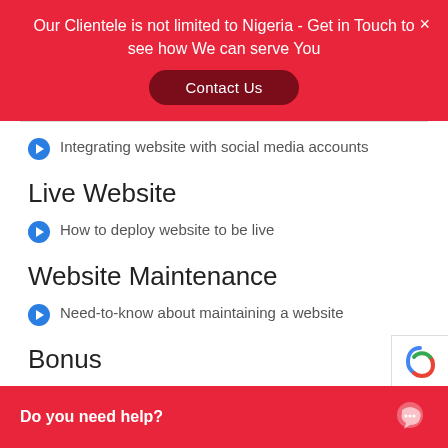Our Clientele is not limited to Nigeria - Get in Touch to see how We can serve You
Contact Us
Integrating website with social media accounts
Live Website
How to deploy website to be live
Website Maintenance
Need-to-know about maintaining a website
Bonus
Website Marketing
Do you need help?